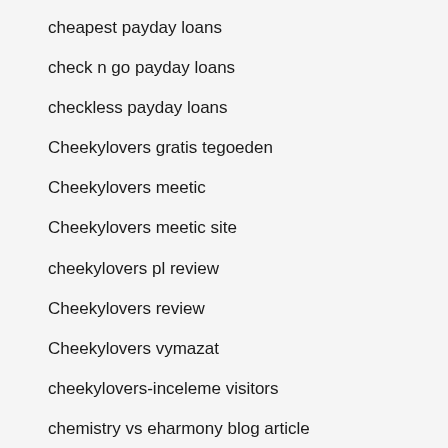cheapest payday loans
check n go payday loans
checkless payday loans
Cheekylovers gratis tegoeden
Cheekylovers meetic
Cheekylovers meetic site
cheekylovers pl review
Cheekylovers review
Cheekylovers vymazat
cheekylovers-inceleme visitors
chemistry vs eharmony blog article
chemistry vs eharmony review